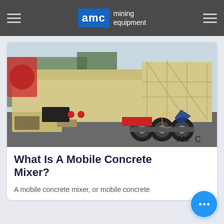AMC mining equipment
[Figure (photo): A large tan/beige mobile mining/concrete equipment on a trailer with large wheels, photographed in a yard. AMC logo watermark visible in lower right corner.]
What Is A Mobile Concrete Mixer?
A mobile concrete mixer, or mobile concrete